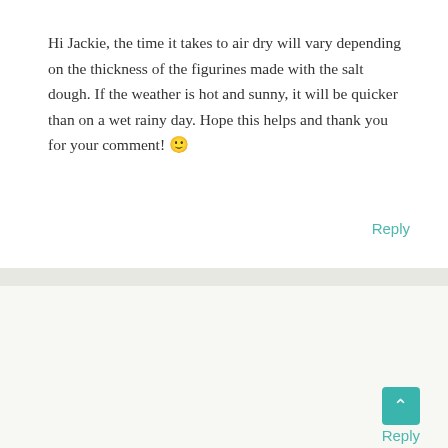Hi Jackie, the time it takes to air dry will vary depending on the thickness of the figurines made with the salt dough. If the weather is hot and sunny, it will be quicker than on a wet rainy day. Hope this helps and thank you for your comment! 🙂
Reply
PATRICIA
JANUARY 30, 2016 AT 6:44 AM
What is the cook time plz lvery never made this before ty
Reply